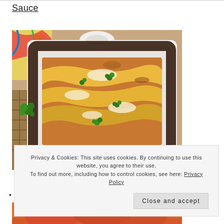Sauce
[Figure (photo): A white baking dish containing enchiladas topped with melted cheese and fresh parsley garnish, sitting in a wicker basket with colorful cloth]
Privacy & Cookies: This site uses cookies. By continuing to use this website, you agree to their use. To find out more, including how to control cookies, see here: Privacy Policy
T
[Figure (photo): Bottom portion of a food photo, partially visible]